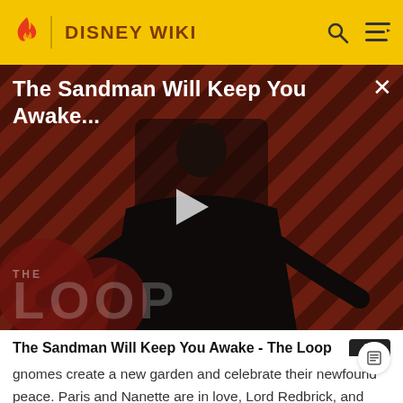DISNEY WIKI
[Figure (screenshot): Video thumbnail for 'The Sandman Will Keep You Awake...' showing a dark-cloaked figure against a red diagonal striped background, with The Loop watermark and a play button overlay.]
The Sandman Will Keep You Awake - The Loop
gnomes create a new garden and celebrate their newfound peace. Paris and Nanette are in love, Lord Redbrick, and Lady Blueberry become best friends, Tybalt is glued back together, Featherstone is reunited with his